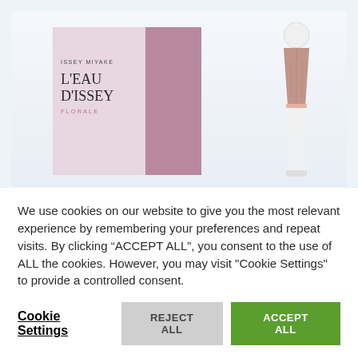[Figure (photo): Issey Miyake L'Eau D'Issey Florale perfume box packaging and bottle against a light blue-grey background. The box shows the brand name ISSEY MIYAKE and product name L'EAU D'ISSEY FLORALE in pink/mauve tones. A bottle with a conical metallic rose-gold cap and white ball top is visible to the right.]
We use cookies on our website to give you the most relevant experience by remembering your preferences and repeat visits. By clicking “ACCEPT ALL”, you consent to the use of ALL the cookies. However, you may visit "Cookie Settings" to provide a controlled consent.
Cookie Settings
REJECT ALL
ACCEPT ALL